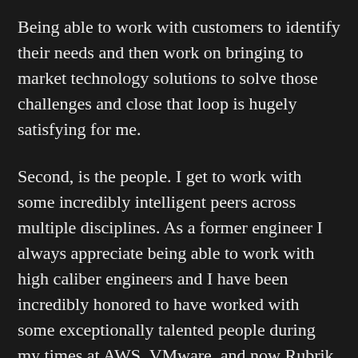Being able to work with customers to identify their needs and then work on bringing to market technology solutions to solve those challenges and close that loop is hugely satisfying for me.
Second, is the people. I get to work with some incredibly intelligent peers across multiple disciplines. As a former engineer I always appreciate being able to work with high caliber engineers and I have been incredibly honored to have worked with some exceptionally talented people during my times at AWS, VMware, and now Rubrik. Being able to share the context of the customers pain points with the engineering teams is one of the things that